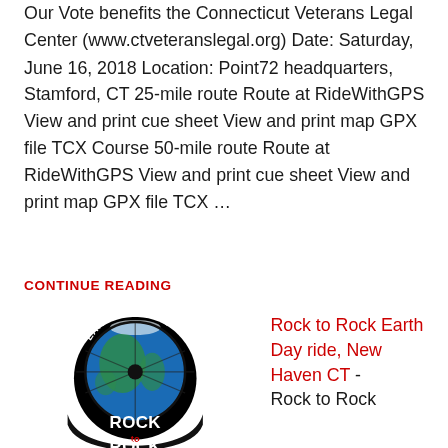Our Vote benefits the Connecticut Veterans Legal Center (www.ctveteranslegal.org) Date: Saturday, June 16, 2018 Location: Point72 headquarters, Stamford, CT 25-mile route Route at RideWithGPS View and print cue sheet View and print map GPX file TCX Course 50-mile route Route at RideWithGPS View and print cue sheet View and print map GPX file TCX …
CONTINUE READING
[Figure (logo): Earth Day Ride - Rock to Rock circular logo featuring a bicycle wheel overlaid on an image of Earth, with 'ROCK to ROCK' text in white on a black banner at the bottom]
Rock to Rock Earth Day ride, New Haven CT - Rock to Rock